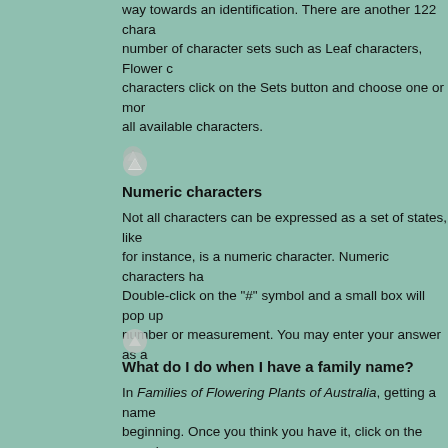way towards an identification. There are another 122 characters organised in a number of character sets such as Leaf characters, Flower characters click on the Sets button and choose one or more all available characters.
[Figure (illustration): Small grey up-arrow navigation icon]
Numeric characters
Not all characters can be expressed as a set of states, like for instance, is a numeric character. Numeric characters ha Double-click on the "#" symbol and a small box will pop up number or measurement. You may enter your answer as a
[Figure (illustration): Small grey up-arrow navigation icon]
What do I do when I have a family name?
In Families of Flowering Plants of Australia, getting a name beginning. Once you think you have it, click on the page ico name. A Fact Sheet for the selected family will be loaded as Images can be loaded separately by clicking on the image through these to check that your identification is correct. All Plants of Australia are provided with one or more (in some